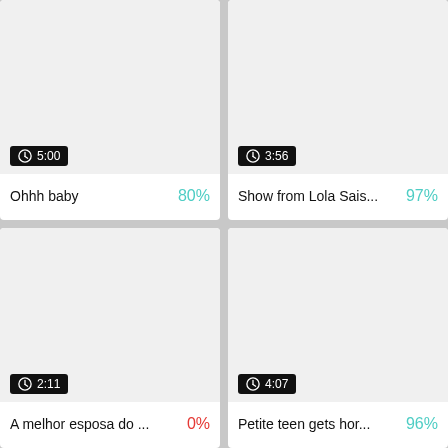[Figure (screenshot): Video thumbnail card top-left: white thumbnail area, duration badge '5:00', title 'Ohhh baby', rating '80%']
[Figure (screenshot): Video thumbnail card top-right: white thumbnail area, duration badge '3:56', title 'Show from Lola Sais...', rating '97%']
[Figure (screenshot): Video thumbnail card bottom-left: white thumbnail area, duration badge '2:11', title 'A melhor esposa do ...', rating '0%']
[Figure (screenshot): Video thumbnail card bottom-right: white thumbnail area, duration badge '4:07', title 'Petite teen gets hor...', rating '96%']